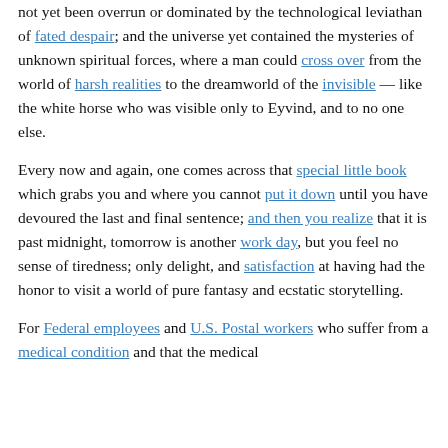not yet been overrun or dominated by the technological leviathan of fated despair; and the universe yet contained the mysteries of unknown spiritual forces, where a man could cross over from the world of harsh realities to the dreamworld of the invisible — like the white horse who was visible only to Eyvind, and to no one else.
Every now and again, one comes across that special little book which grabs you and where you cannot put it down until you have devoured the last and final sentence; and then you realize that it is past midnight, tomorrow is another work day, but you feel no sense of tiredness; only delight, and satisfaction at having had the honor to visit a world of pure fantasy and ecstatic storytelling.
For Federal employees and U.S. Postal workers who suffer from a medical condition and that the medical...